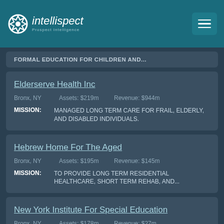[Figure (logo): Intellispect logo with gear/circle icon and italic text, white on teal header background]
FORMAL EDUCATION FOR CHILDREN AND...
Elderserve Health Inc
Bronx, NY   Assets: $219m   Revenue: $944m
MISSION: MANAGED LONG TERM CARE FOR FRAIL, ELDERLY, AND DISABLED INDIVIDUALS.
Hebrew Home For The Aged
Bronx, NY   Assets: $195m   Revenue: $145m
MISSION: TO PROVIDE LONG TERM RESIDENTIAL HEALTHCARE, SHORT TERM REHAB, AND...
New York Institute For Special Education
Bronx, NY   Assets: $178m   Revenue: $27m
MISSION: TO PROVIDE QUALITY EDUCATIONAL PROGRAMS &